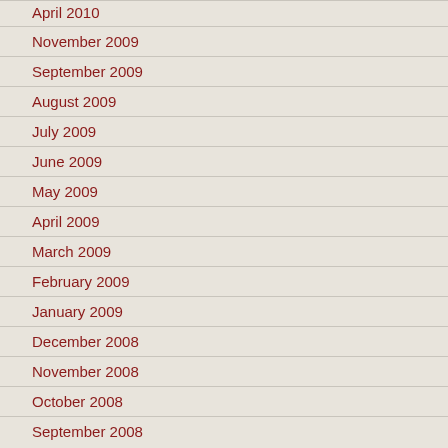April 2010
November 2009
September 2009
August 2009
July 2009
June 2009
May 2009
April 2009
March 2009
February 2009
January 2009
December 2008
November 2008
October 2008
September 2008